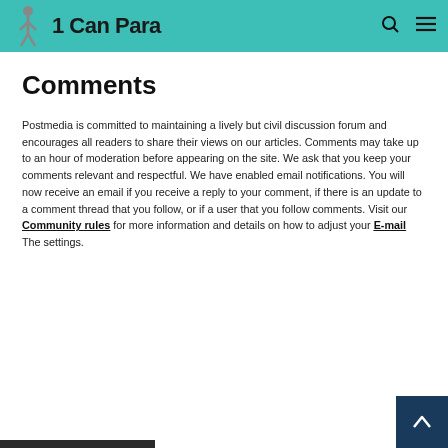1 Can Para
Comments
Postmedia is committed to maintaining a lively but civil discussion forum and encourages all readers to share their views on our articles. Comments may take up to an hour of moderation before appearing on the site. We ask that you keep your comments relevant and respectful. We have enabled email notifications. You will now receive an email if you receive a reply to your comment, if there is an update to a comment thread that you follow, or if a user that you follow comments. Visit our Community rules for more information and details on how to adjust your E-mail The settings.